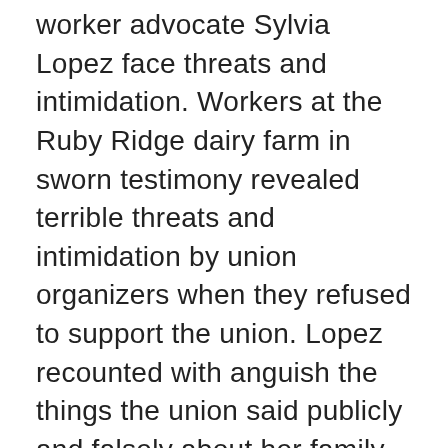worker advocate Sylvia Lopez face threats and intimidation. Workers at the Ruby Ridge dairy farm in sworn testimony revealed terrible threats and intimidation by union organizers when they refused to support the union. Lopez recounted with anguish the things the union said publicly and falsely about her family. She recounted how she was intimidated by union employees following her in black cars with dark windows and how they would stand outside where they knew she would pass. She was afraid, but her passion and conviction for doing right by her fellow workers never stopped her from her efforts.  The UFW does not want Washington farm workers to hear the